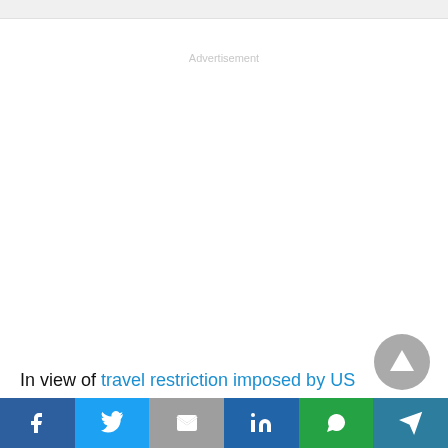Advertisement
In view of travel restriction imposed by US
[Figure (other): Scroll-to-top circular button with upward triangle arrow]
Share bar with icons: Facebook, Twitter, Email, LinkedIn, WhatsApp, Telegram